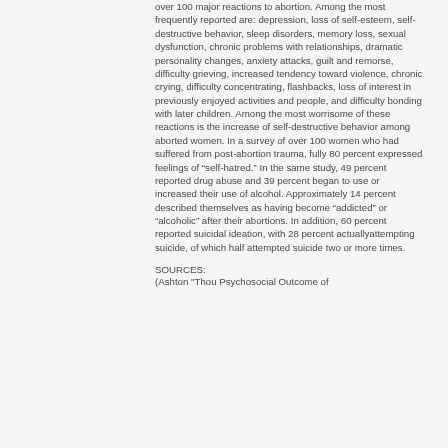over 100 major reactions to abortion. Among the most frequently reported are: depression, loss of self-esteem, self-destructive behavior, sleep disorders, memory loss, sexual dysfunction, chronic problems with relationships, dramatic personality changes, anxiety attacks, guilt and remorse, difficulty grieving, increased tendency toward violence, chronic crying, difficulty concentrating, flashbacks, loss of interest in previously enjoyed activities and people, and difficulty bonding with later children. Among the most worrisome of these reactions is the increase of self-destructive behavior among aborted women. In a survey of over 100 women who had suffered from post-abortion trauma, fully 80 percent expressed feelings of “self-hatred.” In the same study, 49 percent reported drug abuse and 39 percent began to use or increased their use of alcohol. Approximately 14 percent described themselves as having become “addicted” or “alcoholic” after their abortions. In addition, 60 percent reported suicidal ideation, with 28 percent actuallyattempting suicide, of which half attempted suicide two or more times.
SOURCES:
(Ashton "Thou Psychosocial Outcome of